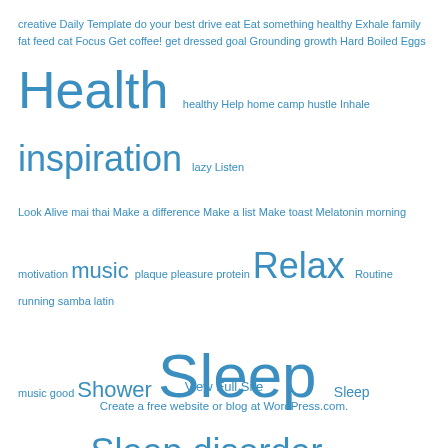[Figure (other): Tag cloud with health and wellness related terms in varying font sizes. Larger terms include Health, inspiration, music, Relax, Sleep, Shower, Sleep disorder, Yoga. Smaller terms include creative, Daily Template, do your best, drive, eat, Eat something healthy, Exhale, family, fat, feed cat, Focus, Get coffee!, get dressed, goal, Grounding, growth, Hard Boiled Eggs, healthy, Help, home camp, hustle, Inhale, lazy, Listen, Look Alive, mai thai, Make a difference, Make a list, Make toast, Melatonin, morning, motivation, plaque, pleasure, protein, Routine, running, samba latin music good, Sleep deprivation, Sleep Tips, Sonicare, stress, Stretching, Template, Thankful, TRX, Uplifting, Weapon of mass destruction.]
View Full Site
Create a free website or blog at WordPress.com.